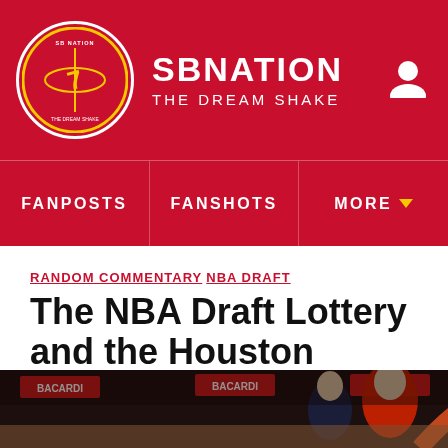SB NATION | THE DREAM SHAKE
FANPOSTS | FANSHOTS | MORE
RANDOM COMMENTARY NBA DRAFT
The NBA Draft Lottery and the Houston Rockets
By BD34 | May 10, 2012, 12:12pm CDT
SHARE
[Figure (photo): Basketball game photo showing players and crowd, with Bacardi signage visible]